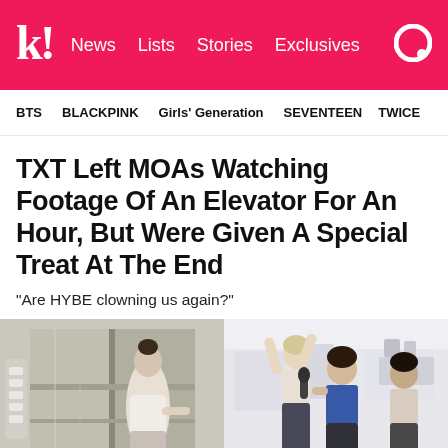k! News Lists Stories Exclusives
BTS  BLACKPINK  Girls' Generation  SEVENTEEN  TWICE
TXT Left MOAs Watching Footage Of An Elevator For An Hour, But Were Given A Special Treat At The End
“Are HYBE clowning us again?”
[Figure (photo): Left: A person standing in front of a shiny elevator door in a hallway. Right: K-pop group members in a rehearsal/dance studio setting, with a person in a blue top holding a microphone.]